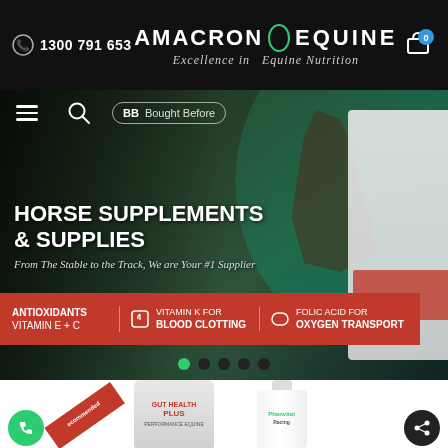[Figure (screenshot): Amacron Equine website screenshot showing header with logo, phone number 1300 791 653, navigation bar with hamburger menu, search, and Bought Before button, hero banner with horse racing image and text HORSE SUPPLEMENTS & SUPPLIES, From The Stable to the Track, We are Your #1 Supplier, red feature bar with ANTIOXIDANTS VITAMIN E+C, VITAMIN K FOR BLOOD CLOTTING, FOLIC ACID FOR OXYGEN TRANSPORT, carousel dots, product section showing Gut Health Plus tub with Recommended ribbon and a white bottle with Phanvital Racing label, phone and share floating buttons]